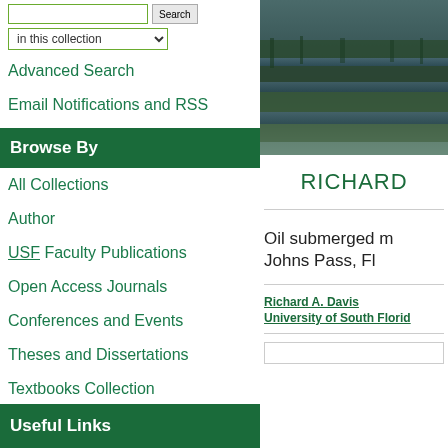[Figure (photo): Aerial or landscape photo of a coastal wetland/marsh area with green vegetation and water channels, dark tones]
RICHARD
Advanced Search
Email Notifications and RSS
Browse By
All Collections
Author
USF Faculty Publications
Open Access Journals
Conferences and Events
Theses and Dissertations
Textbooks Collection
Oil submerged m Johns Pass, Fl
Richard A. Davis
University of South Florid
Useful Links